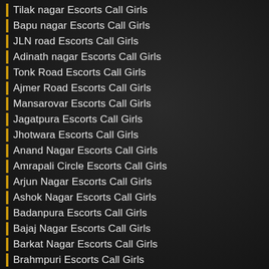Tilak nagar Escorts Call Girls
Bapu nagar Escorts Call Girls
JLN road Escorts Call Girls
Adinath nagar Escorts Call Girls
Tonk Road Escorts Call Girls
Ajmer Road Escorts Call Girls
Mansarovar Escorts Call Girls
Jagatpura Escorts Call Girls
Jhotwara Escorts Call Girls
Anand Nagar Escorts Call Girls
Amrapali Circle Escorts Call Girls
Arjun Nagar Escorts Call Girls
Ashok Nagar Escorts Call Girls
Badanpura Escorts Call Girls
Bajaj Nagar Escorts Call Girls
Barkat Nagar Escorts Call Girls
Brahmpuri Escorts Call Girls
Gandhi Nagar Escorts Call Girls
Govind Nagar Escorts Call Girls
Dev Nagar Escorts Call Girls